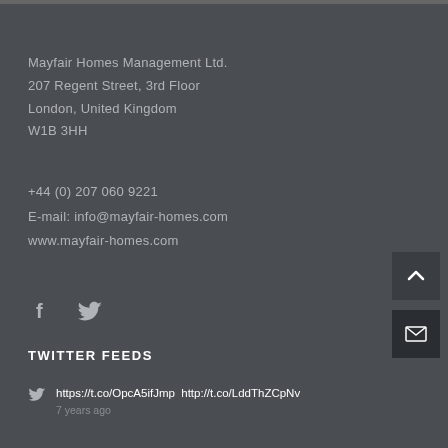Mayfair Homes Management Ltd.
207 Regent Street, 3rd Floor
London, United Kingdom
W1B 3HH
+44 (0) 207 060 9221
E-mail: info@mayfair-homes.com
www.mayfair-homes.com
[Figure (illustration): Facebook and Twitter social media icons]
TWITTER FEEDS
https://t.co/OpcA5ifJmp  http://t.co/LddThZCpNv
7 years ago